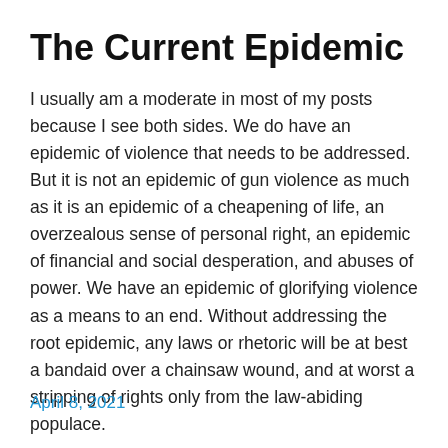The Current Epidemic
I usually am a moderate in most of my posts because I see both sides. We do have an epidemic of violence that needs to be addressed. But it is not an epidemic of gun violence as much as it is an epidemic of a cheapening of life, an overzealous sense of personal right, an epidemic of financial and social desperation, and abuses of power. We have an epidemic of glorifying violence as a means to an end. Without addressing the root epidemic, any laws or rhetoric will be at best a bandaid over a chainsaw wound, and at worst a stripping of rights only from the law-abiding populace.
April 8, 2021